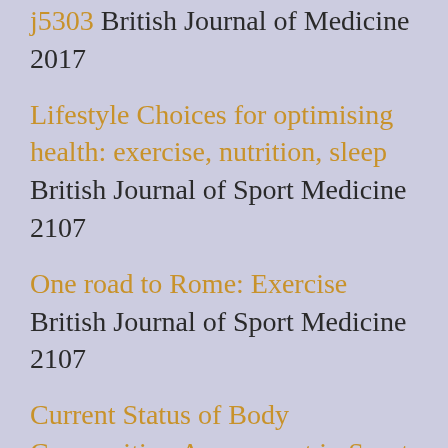j5303 British Journal of Medicine 2017
Lifestyle Choices for optimising health: exercise, nutrition, sleep British Journal of Sport Medicine 2107
One road to Rome: Exercise British Journal of Sport Medicine 2107
Current Status of Body Composition Assessment in Sport Review and Position Statement on Behalf of the Ad